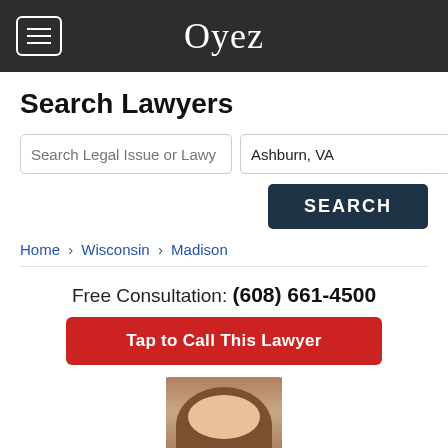Oyez
Search Lawyers
Search Legal Issue or Lawy | Ashburn, VA
SEARCH
Home › Wisconsin › Madison
Free Consultation: (608) 661-4500
Tap to Call This Lawyer
[Figure (photo): Portrait photo of a lawyer, partially visible at bottom of page, person with long dark hair]